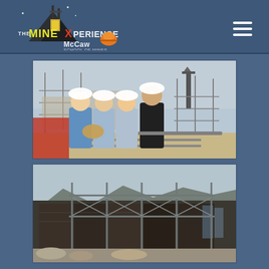[Figure (logo): The Mine Xperience logo with McCaw School of Mines branding — dark mountain/mine shaft graphic with yellow and white stylized text]
[Figure (photo): Vintage photograph of four children wearing white hard hats standing in front of a construction site with scaffolding and mine structures]
[Figure (photo): Vintage photograph of a building under construction with scaffolding, dark rock facade being installed, and construction materials on the ground]